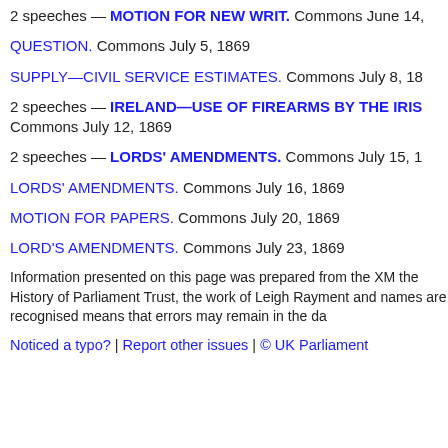2 speeches — MOTION FOR NEW WRIT. Commons June 14,
QUESTION. Commons July 5, 1869
SUPPLY—CIVIL SERVICE ESTIMATES. Commons July 8, 18
2 speeches — IRELAND—USE OF FIREARMS BY THE IRIS... Commons July 12, 1869
2 speeches — LORDS' AMENDMENTS. Commons July 15, 1
LORDS' AMENDMENTS. Commons July 16, 1869
MOTION FOR PAPERS. Commons July 20, 1869
LORD'S AMENDMENTS. Commons July 23, 1869
Information presented on this page was prepared from the XM the History of Parliament Trust, the work of Leigh Rayment and names are recognised means that errors may remain in the da
Noticed a typo? | Report other issues | © UK Parliament